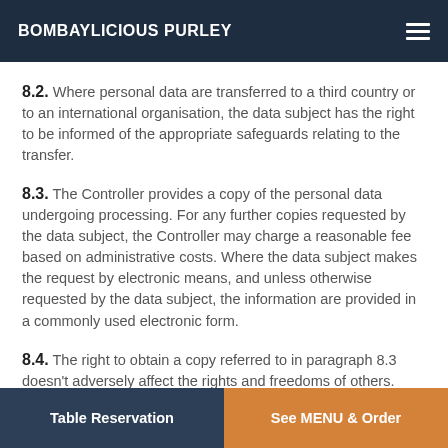BOMBAYLICIOUS PURLEY
8.2. Where personal data are transferred to a third country or to an international organisation, the data subject has the right to be informed of the appropriate safeguards relating to the transfer.
8.3. The Controller provides a copy of the personal data undergoing processing. For any further copies requested by the data subject, the Controller may charge a reasonable fee based on administrative costs. Where the data subject makes the request by electronic means, and unless otherwise requested by the data subject, the information are provided in a commonly used electronic form.
8.4. The right to obtain a copy referred to in paragraph 8.3 doesn’t adversely affect the rights and freedoms of others.
Table Reservation | See MENU & Order